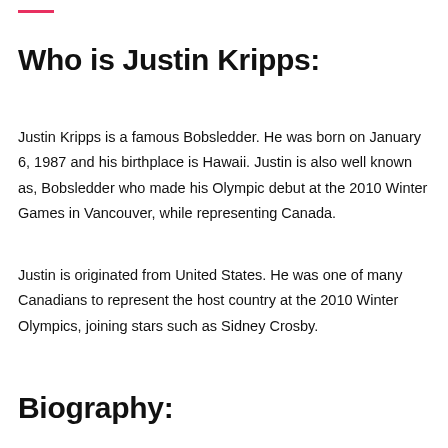Who is Justin Kripps:
Justin Kripps is a famous Bobsledder. He was born on January 6, 1987 and his birthplace is Hawaii. Justin is also well known as, Bobsledder who made his Olympic debut at the 2010 Winter Games in Vancouver, while representing Canada.
Justin is originated from United States. He was one of many Canadians to represent the host country at the 2010 Winter Olympics, joining stars such as Sidney Crosby.
Biography: